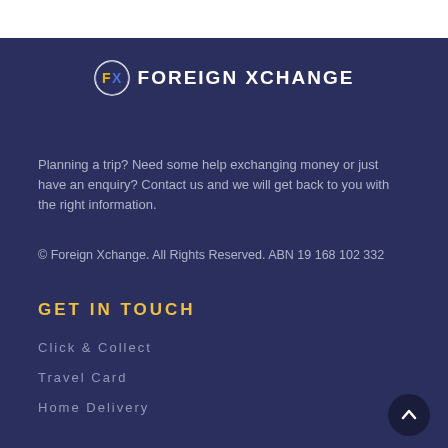[Figure (logo): Foreign Xchange logo: circular FX emblem with yellow F and blue X, followed by text FOREIGN XCHANGE in white bold uppercase letters]
Planning a trip? Need some help exchanging money or just have an enquiry? Contact us and we will get back to you with the right information.
© Foreign Xchange. All Rights Reserved. ABN 19 168 102 332
Get In Touch
Click & Collect
Travel Card
Home Delivery